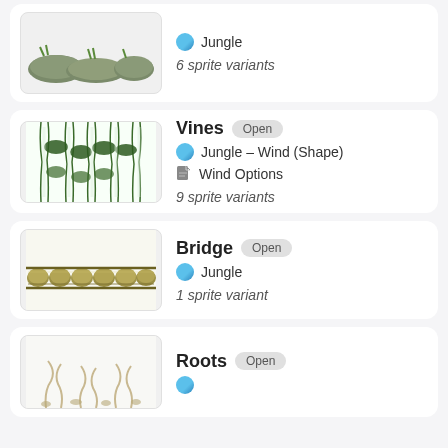[Figure (illustration): Jungle rocks/stones with grass sprite illustration]
Jungle
6 sprite variants
[Figure (illustration): Vines hanging plant sprites illustration]
Vines Open
Jungle – Wind (Shape)
Wind Options
9 sprite variants
[Figure (illustration): Bridge made of woven/straw texture sprite illustration]
Bridge Open
Jungle
1 sprite variant
[Figure (illustration): Roots sprite illustration (partially visible)]
Roots Open